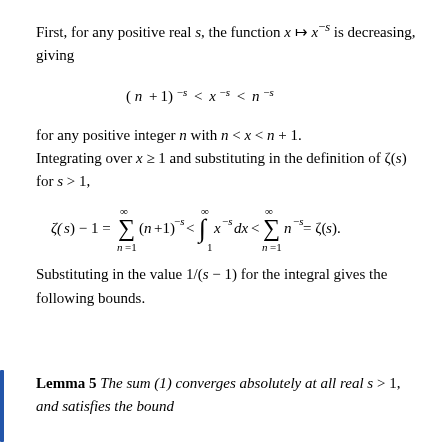First, for any positive real s, the function x ↦ x⁻ˢ is decreasing, giving
for any positive integer n with n < x < n + 1. Integrating over x ≥ 1 and substituting in the definition of ζ(s) for s > 1,
Substituting in the value 1/(s − 1) for the integral gives the following bounds.
Lemma 5 The sum (1) converges absolutely at all real s > 1, and satisfies the bound